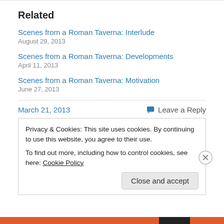Related
Scenes from a Roman Taverna: Interlude
August 29, 2013
Scenes from a Roman Taverna: Developments
April 11, 2013
Scenes from a Roman Taverna: Motivation
June 27, 2013
March 21, 2013
Leave a Reply
Privacy & Cookies: This site uses cookies. By continuing to use this website, you agree to their use.
To find out more, including how to control cookies, see here: Cookie Policy
Close and accept